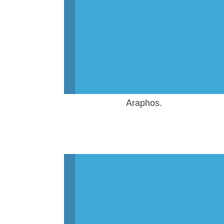[Figure (illustration): Top blue book cover/spine illustration — a blue rectangular block with a darker blue spine on the left side, representing a book viewed at a slight angle. The main cover is a medium sky-blue color and the spine is a slightly darker blue strip.]
Araphos.
[Figure (illustration): Bottom blue book cover/spine illustration — same style as the top one, a blue rectangular block with a darker blue spine on the left side, partially cut off at the bottom of the page.]